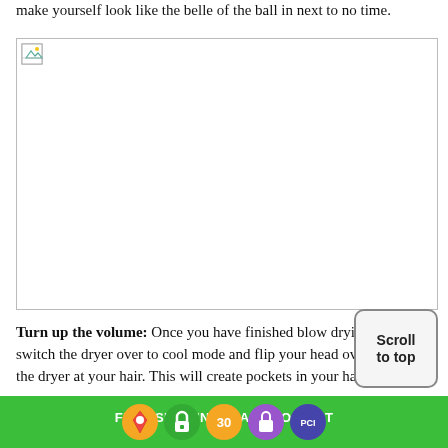make yourself look like the belle of the ball in next to no time.
[Figure (photo): Placeholder image (broken/loading image icon) with a landscape image placeholder spanning most of the page width]
Turn up the volume: Once you have finished blow drying your hair, switch the dryer over to cool mode and flip your head over and aim the dryer at your hair. This will create pockets in your hair thereby
FREE SHIPPING  |  ADD TO CART  Scroll to top